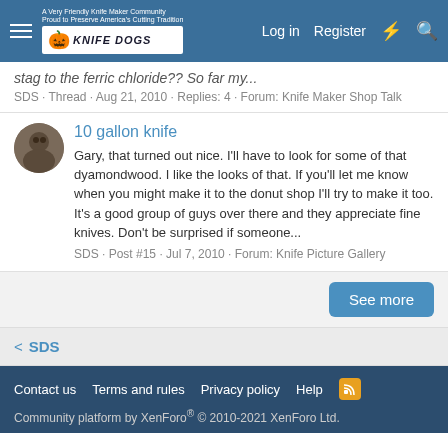Knife Dogs — Log in · Register
stag to the ferric chloride?? So far my...
SDS · Thread · Aug 21, 2010 · Replies: 4 · Forum: Knife Maker Shop Talk
10 gallon knife
Gary, that turned out nice. I'll have to look for some of that dyamondwood. I like the looks of that. If you'll let me know when you might make it to the donut shop I'll try to make it too. It's a good group of guys over there and they appreciate fine knives. Don't be surprised if someone...
SDS · Post #15 · Jul 7, 2010 · Forum: Knife Picture Gallery
See more
SDS
Contact us · Terms and rules · Privacy policy · Help
Community platform by XenForo® © 2010-2021 XenForo Ltd.